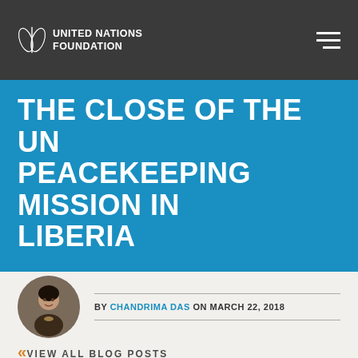UNITED NATIONS FOUNDATION
THE CLOSE OF THE UN PEACEKEEPING MISSION IN LIBERIA
BY CHANDRIMA DAS ON MARCH 22, 2018
« VIEW ALL BLOG POSTS